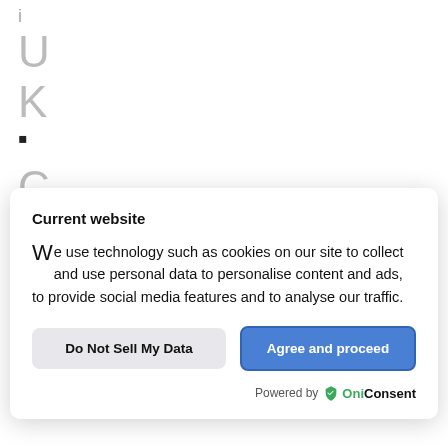i
U
K
-

C
O
Current website
We use technology such as cookies on our site to collect and use personal data to personalise content and ads, to provide social media features and to analyse our traffic.
Do Not Sell My Data
Agree and proceed
Powered by OniConsent